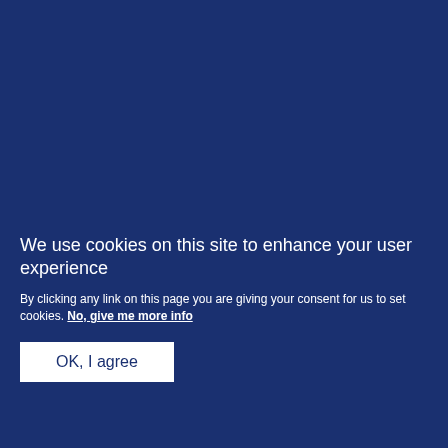UK Royal coat of arms logo and navigation menu
1998
”
“
I remember my own childhood Christmases
We use cookies on this site to enhance your user experience
By clicking any link on this page you are giving your consent for us to set cookies. No, give me more info
OK, I agree